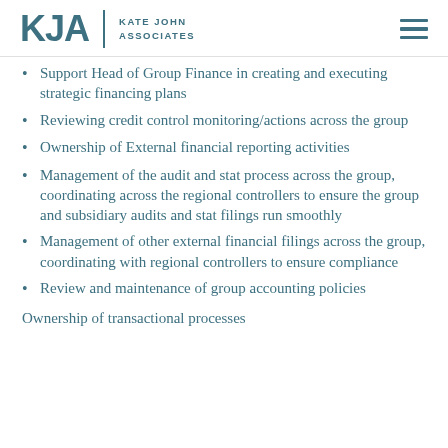KJA | KATE JOHN ASSOCIATES
Support Head of Group Finance in creating and executing strategic financing plans
Reviewing credit control monitoring/actions across the group
Ownership of External financial reporting activities
Management of the audit and stat process across the group, coordinating across the regional controllers to ensure the group and subsidiary audits and stat filings run smoothly
Management of other external financial filings across the group, coordinating with regional controllers to ensure compliance
Review and maintenance of group accounting policies
Ownership of transactional processes